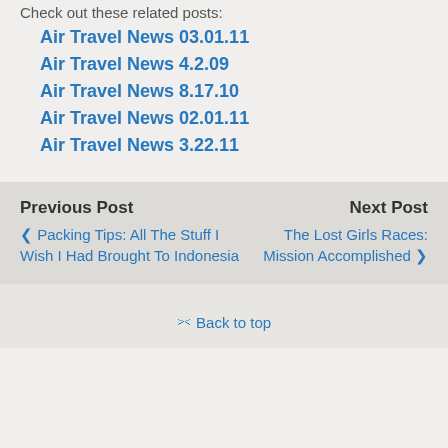Check out these related posts:
Air Travel News 03.01.11
Air Travel News 4.2.09
Air Travel News 8.17.10
Air Travel News 02.01.11
Air Travel News 3.22.11
Previous Post
‹ Packing Tips: All The Stuff I Wish I Had Brought To Indonesia
Next Post
The Lost Girls Races: Mission Accomplished ›
⇧ Back to top